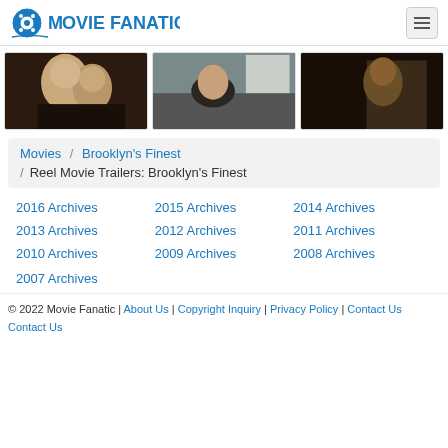MOVIE FANATIC
[Figure (photo): Three movie thumbnail images side by side from Brooklyn's Finest]
Movies / Brooklyn's Finest / Reel Movie Trailers: Brooklyn's Finest
2016 Archives
2015 Archives
2014 Archives
2013 Archives
2012 Archives
2011 Archives
2010 Archives
2009 Archives
2008 Archives
2007 Archives
© 2022 Movie Fanatic | About Us | Copyright Inquiry | Privacy Policy | Contact Us